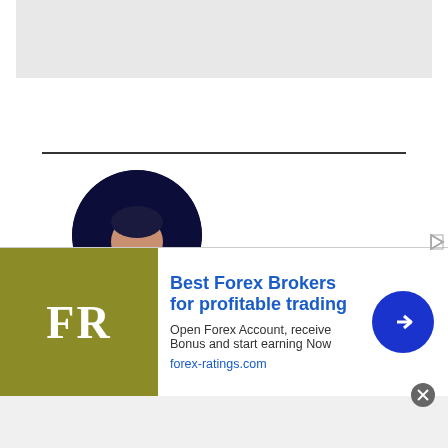[Figure (other): Gray banner ad placeholder at top]
[Figure (photo): Circular profile photo of Alex Smith, a young man against a blue-tinted background]
Alex Smith
[Figure (other): Smoothie King advertisement banner with logo and navigation icon]
Alex is a graduate from the University of North Florida with a background in sales and
[Figure (other): Best Forex Brokers for profitable trading - FR logo advertisement banner. Open Forex Account, receive Bonus and start earning Now. forex-ratings.com]
[Figure (other): Gray footer bar]